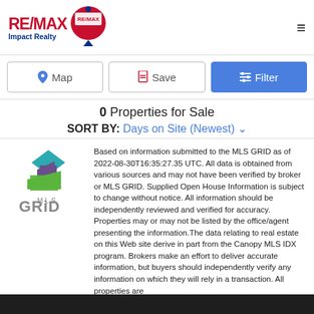RE/MAX Impact Realty
Map | Save | Filter
0 Properties for Sale
SORT BY: Days on Site (Newest)
[Figure (logo): MLS GRID logo with stacked colored diamond shapes above text 'MLS GRID']
Based on information submitted to the MLS GRID as of 2022-08-30T16:35:27.35 UTC. All data is obtained from various sources and may not have been verified by broker or MLS GRID. Supplied Open House Information is subject to change without notice. All information should be independently reviewed and verified for accuracy. Properties may or may not be listed by the office/agent presenting the information.The data relating to real estate on this Web site derive in part from the Canopy MLS IDX program. Brokers make an effort to deliver accurate information, but buyers should independently verify any information on which they will rely in a transaction. All properties are